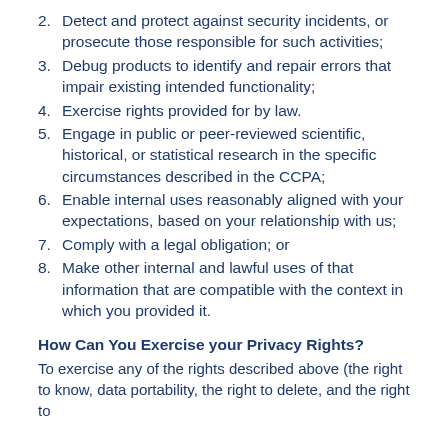2. Detect and protect against security incidents, or prosecute those responsible for such activities;
3. Debug products to identify and repair errors that impair existing intended functionality;
4. Exercise rights provided for by law.
5. Engage in public or peer-reviewed scientific, historical, or statistical research in the specific circumstances described in the CCPA;
6. Enable internal uses reasonably aligned with your expectations, based on your relationship with us;
7. Comply with a legal obligation; or
8. Make other internal and lawful uses of that information that are compatible with the context in which you provided it.
How Can You Exercise your Privacy Rights?
To exercise any of the rights described above (the right to know, data portability, the right to delete, and the right to